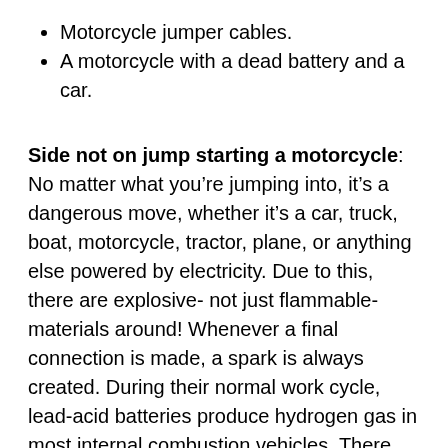Motorcycle jumper cables.
A motorcycle with a dead battery and a car.
Side not on jump starting a motorcycle: No matter what you’re jumping into, it’s a dangerous move, whether it’s a car, truck, boat, motorcycle, tractor, plane, or anything else powered by electricity. Due to this, there are explosive- not just flammable- materials around! Whenever a final connection is made, a spark is always created. During their normal work cycle, lead-acid batteries produce hydrogen gas in most internal combustion vehicles. There have been serious injuries caused by sparks created near hydrogen and/or fuel! The good news is that it can be done safely. An extra hand and